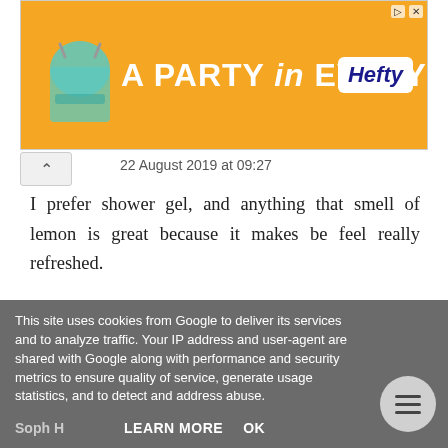[Figure (other): Orange Hefty ad banner reading 'A PARTY in EVERY PACK' with Hefty logo]
22 August 2019 at 09:27
I prefer shower gel, and anything that smell of lemon is great because it makes be feel really refreshed.
Reply
[Figure (other): Orange circular avatar with blogger 'B' icon]
lizziejayne
22 August 2019 at 09:51
soap
This site uses cookies from Google to deliver its services and to analyze traffic. Your IP address and user-agent are shared with Google along with performance and security metrics to ensure quality of service, generate usage statistics, and to detect and address abuse.
Soph H   LEARN MORE   OK